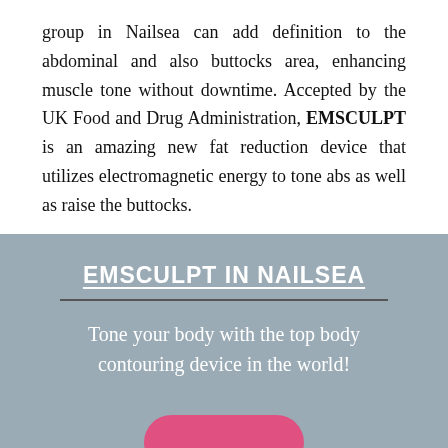group in Nailsea can add definition to the abdominal and also buttocks area, enhancing muscle tone without downtime. Accepted by the UK Food and Drug Administration, EMSCULPT is an amazing new fat reduction device that utilizes electromagnetic energy to tone abs as well as raise the buttocks.
EMSCULPT IN NAILSEA
Tone your body with the top body contouring device in the world!